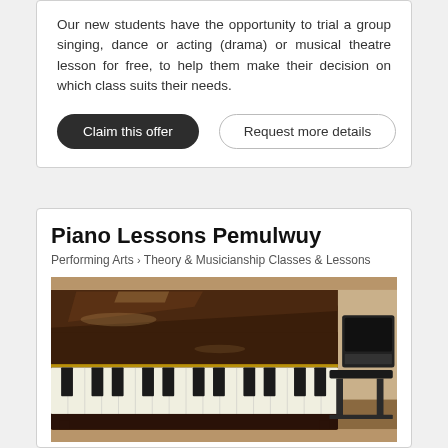Our new students have the opportunity to trial a group singing, dance or acting (drama) or musical theatre lesson for free, to help them make their decision on which class suits their needs.
Claim this offer
Request more details
Piano Lessons Pemulwuy
Performing Arts > Theory & Musicianship Classes & Lessons
[Figure (photo): A polished brown upright Yamaha piano with white and black keys, music stand, and a piano bench visible to the right, in a room setting.]
Condoin Lane, Pemulwuy, NSW 2145
5-10 km from Yennora